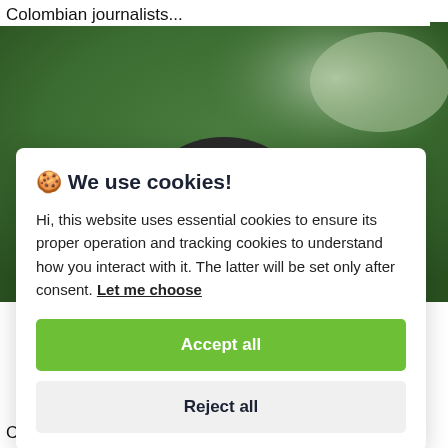Colombian journalists...
[Figure (photo): Partial photograph showing top of a person's head with dark hair against a green blurred background, partially obscured by overlay dialog]
🍪 We use cookies!
Hi, this website uses essential cookies to ensure its proper operation and tracking cookies to understand how you interact with it. The latter will be set only after consent. Let me choose
Accept all
Reject all
Council: PM Kishida...